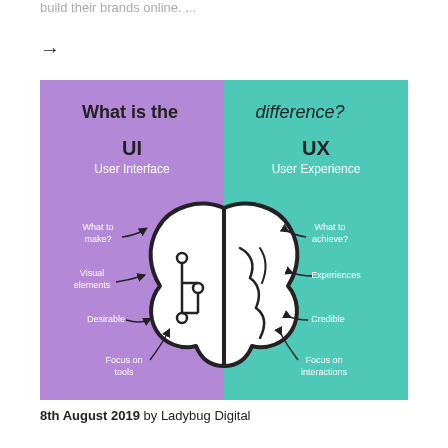build their brands online. ...
→
[Figure (infographic): Split infographic comparing UI (User Interface) on the left purple side and UX (User Experience) on the right teal side. A brain illustration is in the center split between circuit elements (left/UI) and organic elements (right/UX). Title reads 'What is the difference?' Left side lists: What to make?, Visual elements, Desirable, Focus on tools. Right side lists: What to achieve?, Experiences, Credible, Focus on interactions.]
8th August 2019  by Ladybug Digital